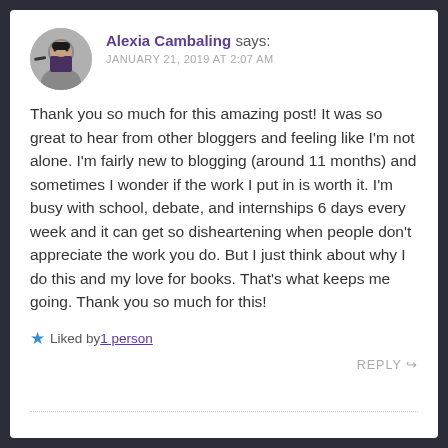Alexia Cambaling says: JANUARY 21, 2019 AT 2:07 AM
Thank you so much for this amazing post! It was so great to hear from other bloggers and feeling like I’m not alone. I’m fairly new to blogging (around 11 months) and sometimes I wonder if the work I put in is worth it. I’m busy with school, debate, and internships 6 days every week and it can get so disheartening when people don’t appreciate the work you do. But I just think about why I do this and my love for books. That’s what keeps me going. Thank you so much for this!
Liked by 1 person
REPLY